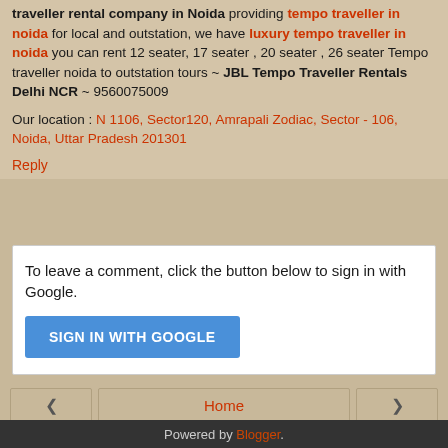traveller rental company in Noida providing tempo traveller in noida for local and outstation, we have luxury tempo traveller in noida you can rent 12 seater, 17 seater , 20 seater , 26 seater Tempo traveller noida to outstation tours ~ JBL Tempo Traveller Rentals Delhi NCR ~ 9560075009
Our location : N 1106, Sector120, Amrapali Zodiac, Sector - 106, Noida, Uttar Pradesh 201301
Reply
To leave a comment, click the button below to sign in with Google.
[Figure (other): SIGN IN WITH GOOGLE button]
Home | View web version | Powered by Blogger.